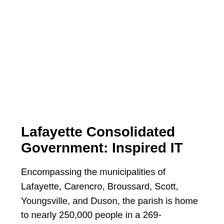Lafayette Consolidated Government: Inspired IT
Encompassing the municipalities of Lafayette, Carencro, Broussard, Scott, Youngsville, and Duson, the parish is home to nearly 250,000 people in a 269-